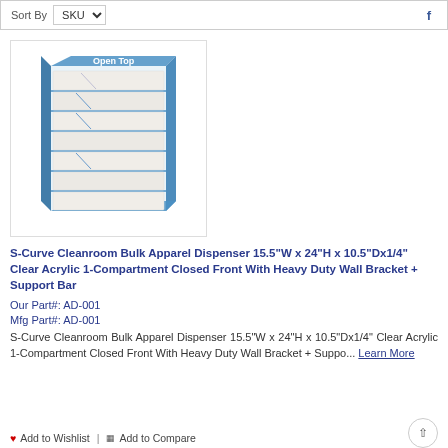Sort By SKU
[Figure (photo): S-Curve Cleanroom Bulk Apparel Dispenser product image showing a blue acrylic multi-shelf dispenser with white packaged items stacked inside. Label 'Open Top' visible at the top.]
S-Curve Cleanroom Bulk Apparel Dispenser 15.5"W x 24"H x 10.5"Dx1/4" Clear Acrylic 1-Compartment Closed Front With Heavy Duty Wall Bracket + Support Bar
Our Part#: AD-001
Mfg Part#: AD-001
S-Curve Cleanroom Bulk Apparel Dispenser 15.5"W x 24"H x 10.5"Dx1/4" Clear Acrylic 1-Compartment Closed Front With Heavy Duty Wall Bracket + Suppo... Learn More
♥ Add to Wishlist | Add to Compare